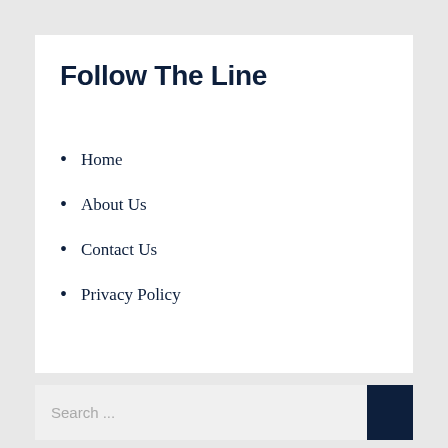Follow The Line
Home
About Us
Contact Us
Privacy Policy
Search ...